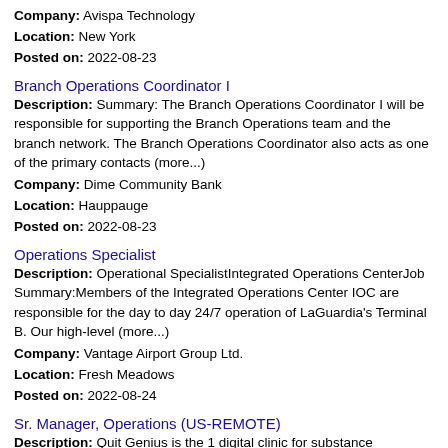Company: Avispa Technology
Location: New York
Posted on: 2022-08-23
Branch Operations Coordinator I
Description: Summary: The Branch Operations Coordinator I will be responsible for supporting the Branch Operations team and the branch network. The Branch Operations Coordinator also acts as one of the primary contacts (more...)
Company: Dime Community Bank
Location: Hauppauge
Posted on: 2022-08-23
Operations Specialist
Description: Operational SpecialistIntegrated Operations CenterJob Summary:Members of the Integrated Operations Center IOC are responsible for the day to day 24/7 operation of LaGuardia's Terminal B. Our high-level (more...)
Company: Vantage Airport Group Ltd.
Location: Fresh Meadows
Posted on: 2022-08-24
Sr. Manager, Operations (US-REMOTE)
Description: Quit Genius is the 1 digital clinic for substance addictions. We are on a mission to help 100 million people overcome tobacco, alcohol and opioid addictions by combining technology, healthcare and design. (more...)
Company: Quit Genius